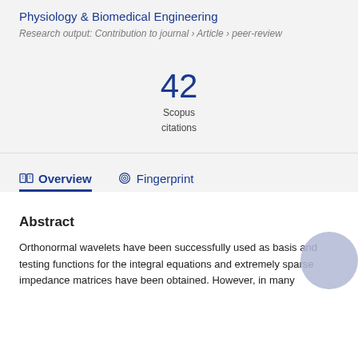Physiology & Biomedical Engineering
Research output: Contribution to journal › Article › peer-review
42
Scopus
citations
Overview   Fingerprint
Abstract
Orthonormal wavelets have been successfully used as basis and testing functions for the integral equations and extremely sparse impedance matrices have been obtained. However, in many